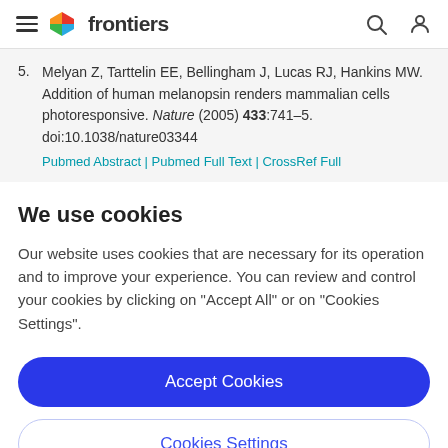frontiers
5. Melyan Z, Tarttelin EE, Bellingham J, Lucas RJ, Hankins MW. Addition of human melanopsin renders mammalian cells photoresponsive. Nature (2005) 433:741–5. doi:10.1038/nature03344
We use cookies
Our website uses cookies that are necessary for its operation and to improve your experience. You can review and control your cookies by clicking on "Accept All" or on "Cookies Settings".
Accept Cookies
Cookies Settings